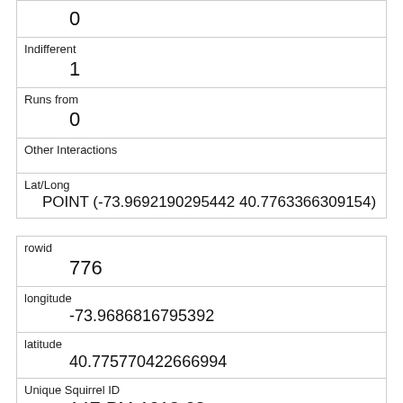| 0 |
| Indifferent | 1 |
| Runs from | 0 |
| Other Interactions |  |
| Lat/Long | POINT (-73.9692190295442 40.7763366309154) |
| rowid | 776 |
| longitude | -73.9686816795392 |
| latitude | 40.775770422666994 |
| Unique Squirrel ID | 14F-PM-1012-02 |
| Hectare | 14F |
| Shift |  |